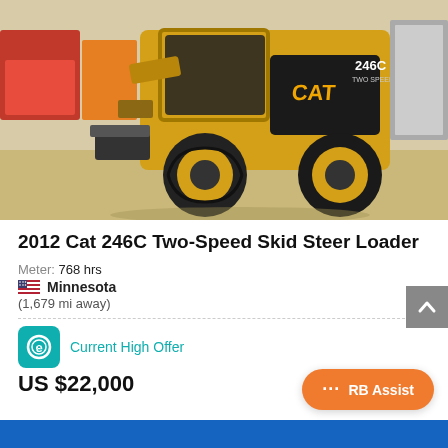[Figure (photo): 2012 Cat 246C Two-Speed Skid Steer Loader, yellow/black, photographed outdoors in a yard with other equipment in background]
2012 Cat 246C Two-Speed Skid Steer Loader
Meter: 768 hrs
Minnesota
(1,679 mi away)
Current High Offer
US $22,000